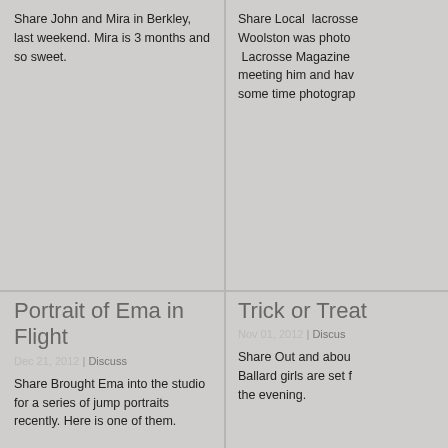Share John and Mira in Berkley, last weekend. Mira is 3 months and so sweet.
Share Local lacrosse... Woolston was photo... Lacrosse Magazine... meeting him and hav... some time photograp...
[Figure (photo): Woman in black dress with hands pressed together in prayer pose, white background]
[Figure (photo): People in Halloween costumes outdoors at night, one in red devil costume]
Portrait of Ema in Flight
Dec 21, 2012 | Discuss
Trick or Treat
Nov 01, 2012 | Discus
Share Brought Ema into the studio for a series of jump portraits recently. Here is one of them.
Share Out and about... Ballard girls are set f... the evening.